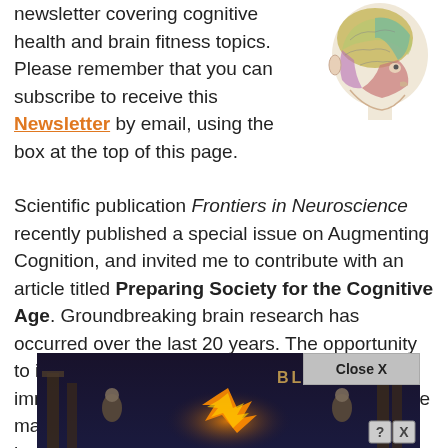newsletter covering cognitive health and brain fitness topics. Please remember that you can subscribe to receive this Newsletter by email, using the box at the top of this page.
[Figure (illustration): Anatomical illustration of a human head in profile showing the brain with colored regions]
Scientific publication Frontiers in Neuroscience recently published a special issue on Augmenting Cognition, and invited me to contribute with an article titled Preparing Society for the Cognitive Age. Groundbreaking brain research has occurred over the last 20 years. The opportunity to improve brain health and performance is immense, but we need to ensure the marketplace matures in a rational and sustainable manner, both through healthcare and non-healthcare channels. Click Here to read my article...
[Figure (screenshot): Advertisement overlay showing a fantasy game scene with explosion and figures, with a Close X button and question/close icons]